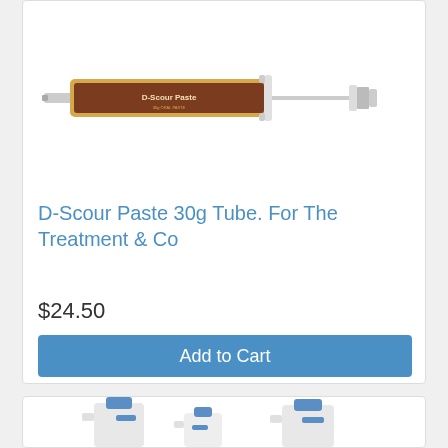[Figure (photo): Product photo of D-Scour Paste 30g Tube syringe with brown/gold label]
D-Scour Paste 30g Tube. For The Treatment & Co
$24.50
Add to Cart
[Figure (photo): Product photo of several white plastic jugs/bottles with blue caps]